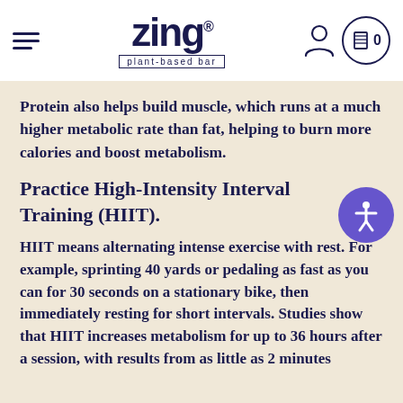zing® plant-based bar
Protein also helps build muscle, which runs at a much higher metabolic rate than fat, helping to burn more calories and boost metabolism.
Practice High-Intensity Interval Training (HIIT).
HIIT means alternating intense exercise with rest. For example, sprinting 40 yards or pedaling as fast as you can for 30 seconds on a stationary bike, then immediately resting for short intervals. Studies show that HIIT increases metabolism for up to 36 hours after a session, with results from as little as 2 minutes